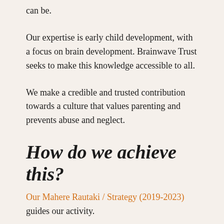can be.
Our expertise is early child development, with a focus on brain development. Brainwave Trust seeks to make this knowledge accessible to all.
We make a credible and trusted contribution towards a culture that values parenting and prevents abuse and neglect.
How do we achieve this?
Our Mahere Rautaki / Strategy (2019-2023) guides our activity.
We review scientific research and use it to create simple messages about how to support healthy brain development in pāni, tamariki and